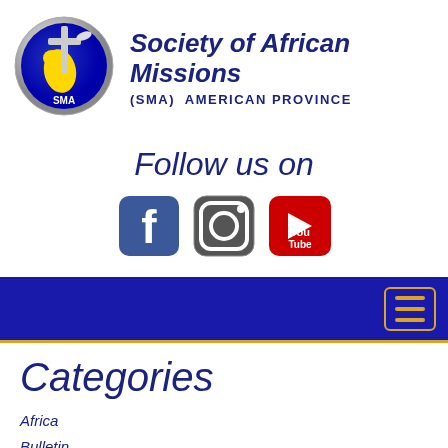[Figure (logo): SMA circular logo with globe, cross, and SMA text in blue/yellow/silver]
Society of African Missions (SMA) AMERICAN PROVINCE
Follow us on
[Figure (logo): Social media icons: Facebook, Instagram, YouTube]
[Figure (screenshot): Blue navigation bar with gold hamburger menu button]
Categories
Africa
Bulletin
Justice and Peace
Uncategorized